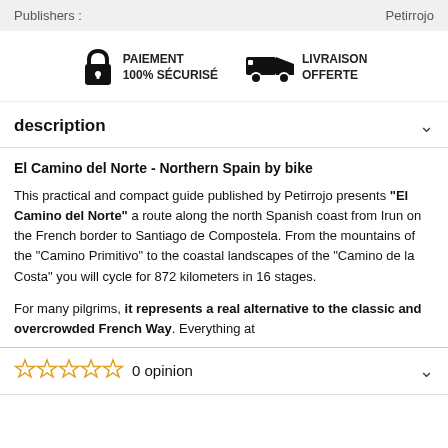Publishers :    Petirrojo
[Figure (infographic): Two badges: a lock icon with 'PAIEMENT 100% SÉCURISÉ' and a truck icon with 'LIVRAISON OFFERTE']
description
El Camino del Norte - Northern Spain by bike
This practical and compact guide published by Petirrojo presents "El Camino del Norte" a route along the north Spanish coast from Irun on the French border to Santiago de Compostela. From the mountains of the "Camino Primitivo" to the coastal landscapes of the "Camino de la Costa" you will cycle for 872 kilometers in 16 stages.
For many pilgrims, it represents a real alternative to the classic and overcrowded French Way. Everything at
0 opinion